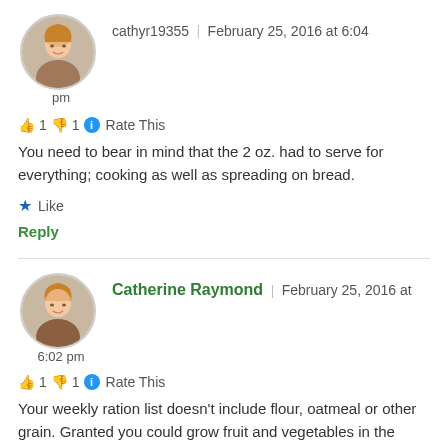cathyr19355 | February 25, 2016 at 6:04 pm
👍 1 👎 1 ℹ Rate This
You need to bear in mind that the 2 oz. had to serve for everything; cooking as well as spreading on bread.
★ Like
Reply
Catherine Raymond | February 25, 2016 at 6:02 pm
👍 1 👎 1 ℹ Rate This
Your weekly ration list doesn't include flour, oatmeal or other grain. Granted you could grow fruit and vegetables in the family garden (my family did!),